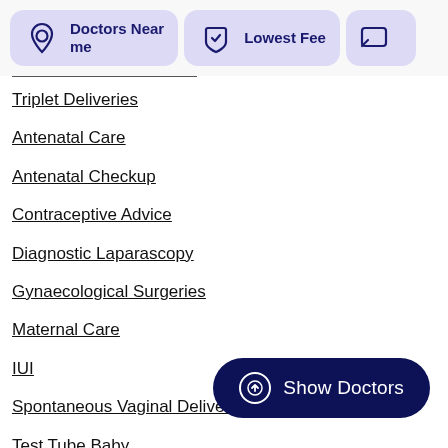[Figure (screenshot): Header filter bar with 'Doctors Near me' card (location pin icon, purple background), 'Lowest Fee' card (shield icon, purple background), and a partially visible third card (message icon)]
Triplet Deliveries
Antenatal Care
Antenatal Checkup
Contraceptive Advice
Diagnostic Laparascopy
Gynaecological Surgeries
Maternal Care
IUI
Spontaneous Vaginal Delivery (SVD)
Test Tube Baby